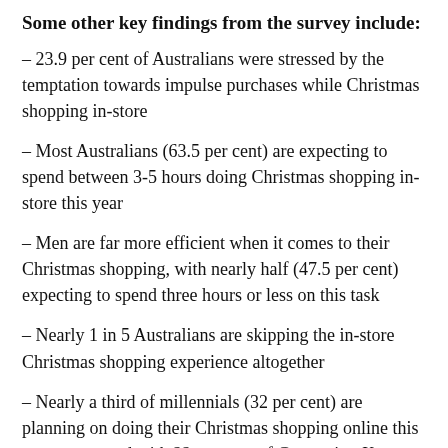Some other key findings from the survey include:
– 23.9 per cent of Australians were stressed by the temptation towards impulse purchases while Christmas shopping in-store
– Most Australians (63.5 per cent) are expecting to spend between 3-5 hours doing Christmas shopping in-store this year
– Men are far more efficient when it comes to their Christmas shopping, with nearly half (47.5 per cent) expecting to spend three hours or less on this task
– Nearly 1 in 5 Australians are skipping the in-store Christmas shopping experience altogether
– Nearly a third of millennials (32 per cent) are planning on doing their Christmas shopping online this year, compared with 22 per cent of Generation Xers and 14 per cent of baby